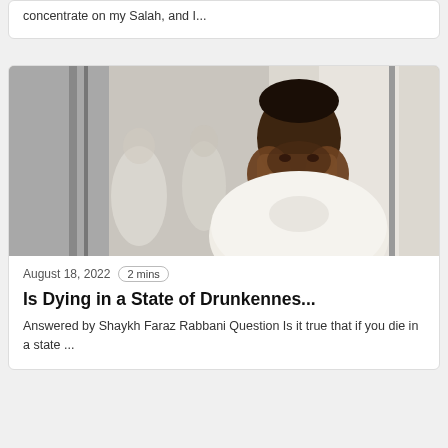concentrate on my Salah, and I...
[Figure (photo): A Black man in a white shirt with his hands clasped together pressed to his face, appearing distressed or in prayer, with blurred figures in the background]
August 18, 2022   2 mins
Is Dying in a State of Drunkennes...
Answered by Shaykh Faraz Rabbani Question Is it true that if you die in a state ...